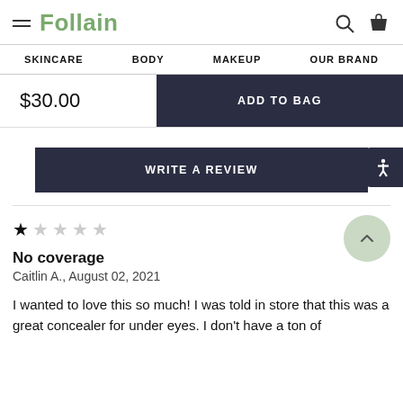Follain
SKINCARE  BODY  MAKEUP  OUR BRAND
$30.00  ADD TO BAG
WRITE A REVIEW
★☆☆☆☆
No coverage
Caitlin A., August 02, 2021
I wanted to love this so much! I was told in store that this was a great concealer for under eyes. I don't have a ton of